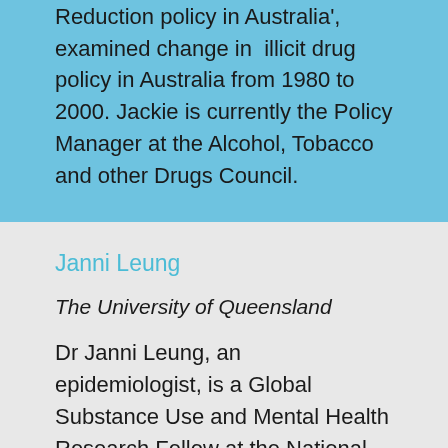Reduction policy in Australia', examined change in illicit drug policy in Australia from 1980 to 2000. Jackie is currently the Policy Manager at the Alcohol, Tobacco and other Drugs Council.
Janni Leung
The University of Queensland
Dr Janni Leung, an epidemiologist, is a Global Substance Use and Mental Health Research Fellow at the National Centre For Youth Substance Use Research (NCSYUR)